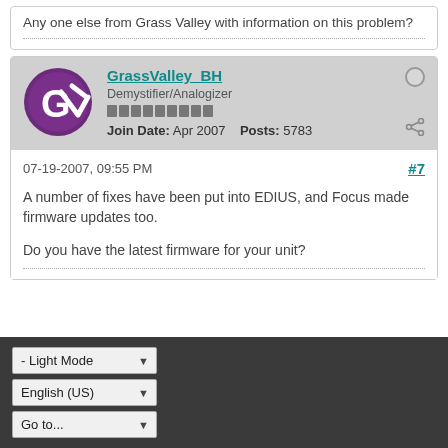Any one else from Grass Valley with information on this problem?
GrassValley_BH
Demystifier/Analogizer
Join Date: Apr 2007    Posts: 5783
07-19-2007, 09:55 PM
#7
A number of fixes have been put into EDIUS, and Focus made firmware updates too.

Do you have the latest firmware for your unit?
- Light Mode
English (US)
Go to...